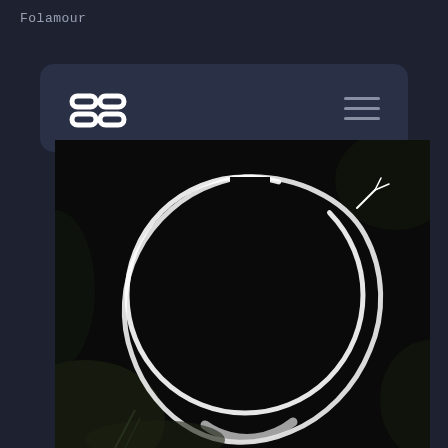Folamour
[Figure (logo): Squarespace-style navigation bar with a chain-link logo icon on the left and a hamburger menu icon on the right, on a dark navy rounded rectangle]
[Figure (photo): Black and white photograph of a nearly complete circular ring or halo shape drawn or painted against a very dark background, with a small branching element at the top right of the ring]